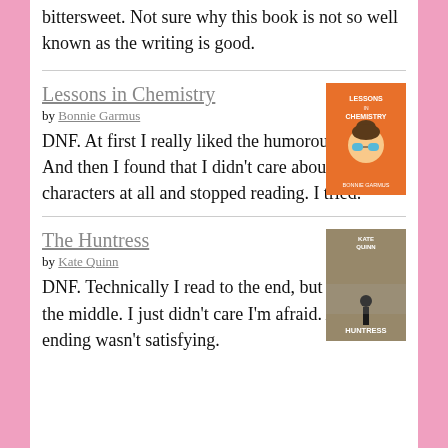bittersweet. Not sure why this book is not so well known as the writing is good.
Lessons in Chemistry
by Bonnie Garmus
[Figure (illustration): Book cover for Lessons in Chemistry — orange cover with illustrated woman's face wearing blue glasses]
DNF. At first I really liked the humorous tone. And then I found that I didn't care about these characters at all and stopped reading. I tried.
The Huntress
by Kate Quinn
[Figure (illustration): Book cover for The Huntress — dark/monochrome cover with figure]
DNF. Technically I read to the end, but I skipped the middle. I just didn't care I'm afraid. And the ending wasn't satisfying.